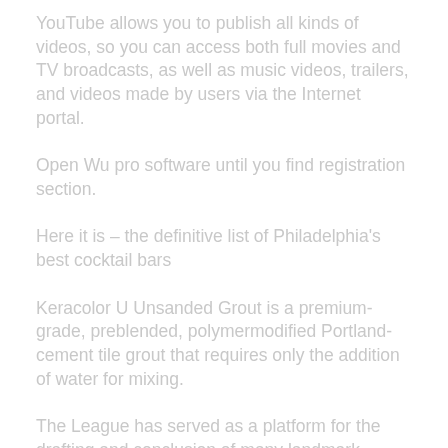YouTube allows you to publish all kinds of videos, so you can access both full movies and TV broadcasts, as well as music videos, trailers, and videos made by users via the Internet portal.
Open Wu pro software until you find registration section.
Here it is – the definitive list of Philadelphia's best cocktail bars
Keracolor U Unsanded Grout is a premium-grade, preblended, polymermodified Portland-cement tile grout that requires only the addition of water for mixing.
The League has served as a platform for the drafting and conclusion of many landmark documents promoting economic integration.
Not mean, just aggressive and really, honestly, more panther.
If you want to have a quote removed, flag the quote and let us know what's up.
Wonderful activities just waiting to be discovered in the beauty of the early morning or after dark.